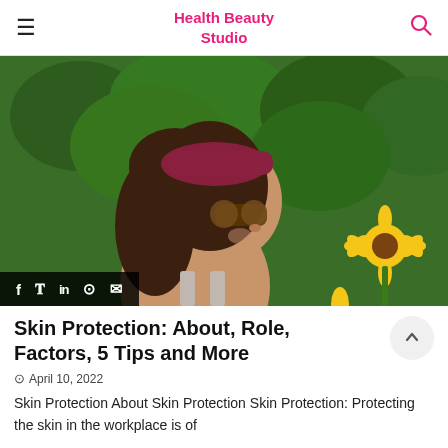Health Beauty Studio
[Figure (photo): Woman with sunglasses and a red/maroon bandana headband smelling a yellow sunflower, surrounded by green sunflower plants in an outdoor garden setting.]
Skin Protection: About, Role, Factors, 5 Tips and More
April 10, 2022
Skin Protection About Skin Protection Skin Protection: Protecting the skin in the workplace is of